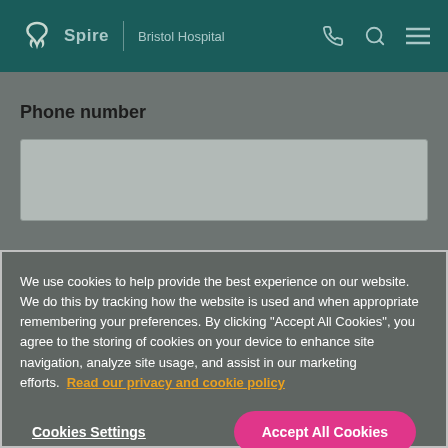Spire | Bristol Hospital
Phone number
We use cookies to help provide the best experience on our website. We do this by tracking how the website is used and when appropriate remembering your preferences. By clicking "Accept All Cookies", you agree to the storing of cookies on your device to enhance site navigation, analyze site usage, and assist in our marketing efforts. Read our privacy and cookie policy
Cookies Settings
Accept All Cookies